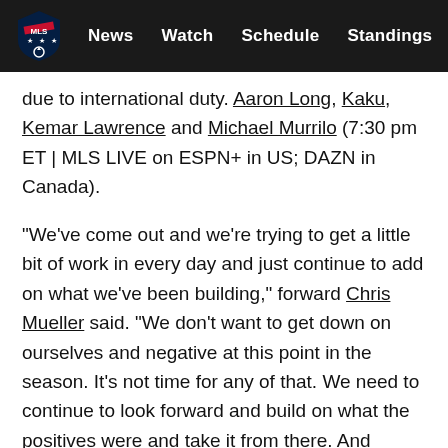MLS | News  Watch  Schedule  Standings  ...
due to international duty. Aaron Long, Kaku, Kemar Lawrence and Michael Murrilo (7:30 pm ET | MLS LIVE on ESPN+ in US; DAZN in Canada).
"We've come out and we're trying to get a little bit of work in every day and just continue to add on what we've been building," forward Chris Mueller said. "We don't want to get down on ourselves and negative at this point in the season. It's not time for any of that. We need to continue to look forward and build on what the positives were and take it from there. And hopefully the results will start to fall our way."
Orlando won't be at full strength, either. Kamal Miller